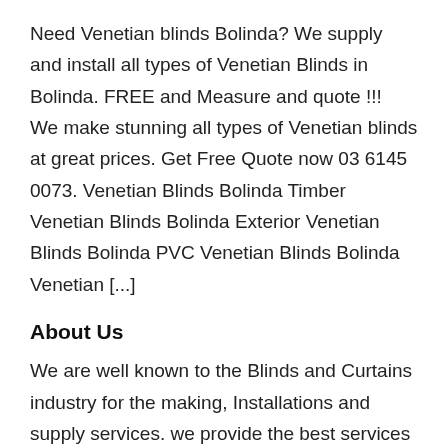Need Venetian blinds Bolinda? We supply and install all types of Venetian Blinds in Bolinda. FREE and Measure and quote !!!  We make stunning all types of Venetian blinds at great prices. Get Free Quote now 03 6145 0073. Venetian Blinds Bolinda Timber Venetian Blinds Bolinda Exterior Venetian Blinds Bolinda PVC Venetian Blinds Bolinda Venetian [...]
About Us
We are well known to the Blinds and Curtains industry for the making, Installations and supply services. we provide the best services to all the suburbs in Melbourne. Bob's Blinds Installations has an expert team keen to cater you with year all Blinds and Curtains need. We provide the world class services of Supply & Installations of Roller